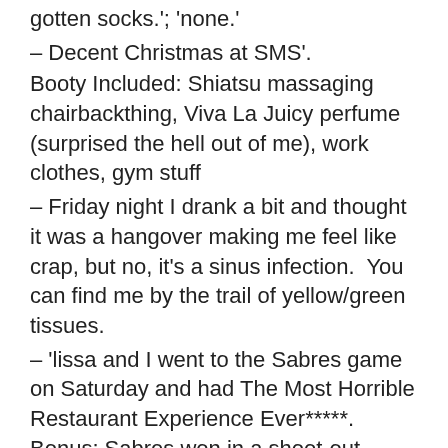gotten socks.'; 'none.'
– Decent Christmas at SMS'.
Booty Included: Shiatsu massaging chairbackthing, Viva La Juicy perfume (surprised the hell out of me), work clothes, gym stuff
– Friday night I drank a bit and thought it was a hangover making me feel like crap, but no, it's a sinus infection.  You can find me by the trail of yellow/green tissues.
– 'lissa and I went to the Sabres game on Saturday and had The Most Horrible Restaurant Experience Ever*****. Bonus: Sabres won in a shoot-out meaning we're allowed to return to the arena (as the boys are wicked superstisious)
– Spent all of Sunday sleeping, sneezing, snoting and snoring.  This unfortunate turn of events prevented me from spending an anniversary proper with The Mister. Yesterday marked our SEVENTH YEAR together